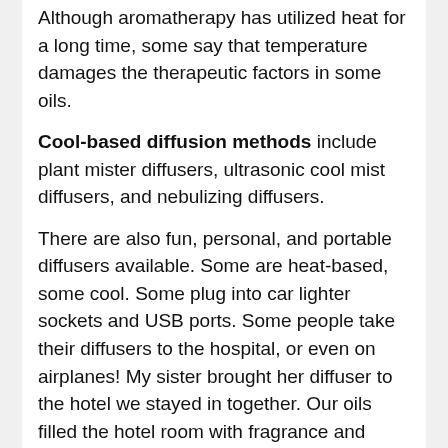Although aromatherapy has utilized heat for a long time, some say that temperature damages the therapeutic factors in some oils.
Cool-based diffusion methods include plant mister diffusers, ultrasonic cool mist diffusers, and nebulizing diffusers.
There are also fun, personal, and portable diffusers available. Some are heat-based, some cool. Some plug into car lighter sockets and USB ports. Some people take their diffusers to the hospital, or even on airplanes! My sister brought her diffuser to the hotel we stayed in together. Our oils filled the hotel room with fragrance and helped us to unwind, relax, and sleep deeply.
Whether you choose heat-based or cool-based...